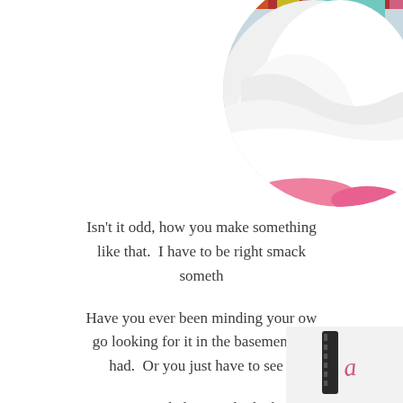[Figure (photo): Circular cropped photo showing white fabric/tulle material with pink accents and colorful items in the background, positioned in the top-right corner]
Isn't it odd, how you make something like that.  I have to be right smack something
Have you ever been minding your ow go looking for it in the basement, cl had.  Or you just have to see a
I can't even believe I plunked my s
[Figure (photo): Partial photo in bottom-right corner showing what appears to be a dark colored item with decorative script text visible]